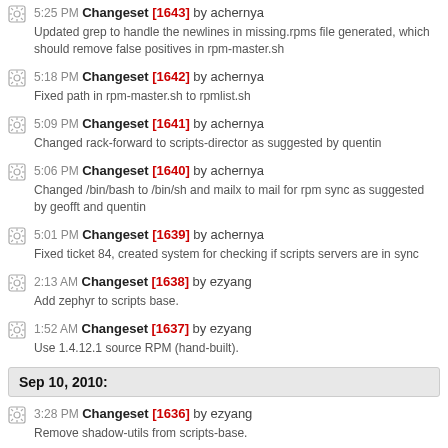5:25 PM Changeset [1643] by achernya — Updated grep to handle the newlines in missing.rpms file generated, which should remove false positives in rpm-master.sh
5:18 PM Changeset [1642] by achernya — Fixed path in rpm-master.sh to rpmlist.sh
5:09 PM Changeset [1641] by achernya — Changed rack-forward to scripts-director as suggested by quentin
5:06 PM Changeset [1640] by achernya — Changed /bin/bash to /bin/sh and mailx to mail for rpm sync as suggested by geofft and quentin
5:01 PM Changeset [1639] by achernya — Fixed ticket 84, created system for checking if scripts servers are in sync
2:13 AM Changeset [1638] by ezyang — Add zephyr to scripts base.
1:52 AM Changeset [1637] by ezyang — Use 1.4.12.1 source RPM (hand-built).
Sep 10, 2010:
3:28 PM Changeset [1636] by ezyang — Remove shadow-utils from scripts-base.
2:50 PM Changeset [1635] by ezyang